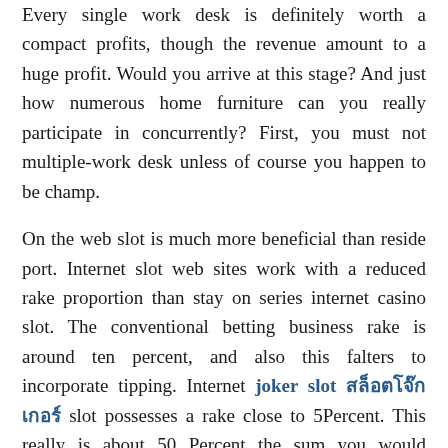Every single work desk is definitely worth a compact profits, though the revenue amount to a huge profit. Would you arrive at this stage? And just how numerous home furniture can you really participate in concurrently? First, you must not multiple-work desk unless of course you happen to be champ.
On the web slot is much more beneficial than reside port. Internet slot web sites work with a reduced rake proportion than stay on series internet casino slot. The conventional betting business rake is around ten percent, and also this falters to incorporate tipping. Internet joker slot สล็อตโจ๊กเกอร์ slot possesses a rake close to 5Percent. This really is about 50 Percent the sum you would probably commit on the internet casino. You can expect to shell out even less when you add client loyalty rewards, advance payment rewards, and rake rear.